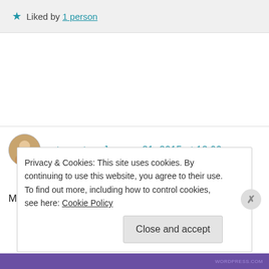★ Liked by 1 person
mtsweat on January 21, 2015 at 12:00 pm
👍 1 👎 0 ℹ Rate This
Most every one of these studies I see provide
Privacy & Cookies: This site uses cookies. By continuing to use this website, you agree to their use. To find out more, including how to control cookies, see here: Cookie Policy
Close and accept